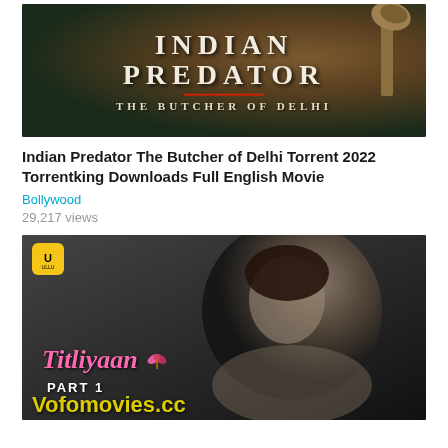[Figure (photo): Movie poster for 'Indian Predator: The Butcher of Delhi' showing the title text in large serif font with a red underline, dark green/brown background, and a partial image of an axe in the upper right corner]
Indian Predator The Butcher of Delhi Torrent 2022 Torrentking Downloads Full English Movie
Bollywood
29,217 views
[Figure (photo): Promotional image for 'Titliyaan Part 1' web series on Ullu platform. Black and white photo of a woman lying down, smiling. Text overlays include ULLU logo, 'Titliyaan' in pink italic font with butterfly, 'PART 1' in white, and 'Vofomovies.cc' in yellow at the bottom]